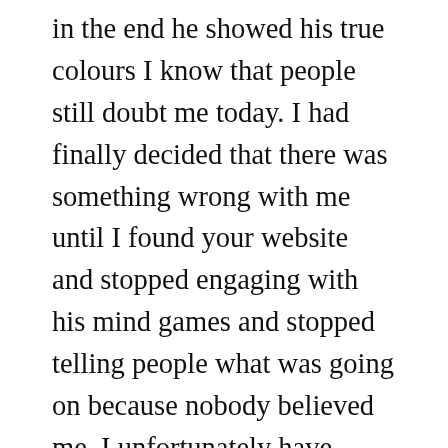in the end he showed his true colours I know that people still doubt me today. I had finally decided that there was something wrong with me until I found your website and stopped engaging with his mind games and stopped telling people what was going on because nobody believed me. I unfortunately have encountered another psychopath and I initially was feeling bad saying to myself how can it be I have met another one it must be me. This time I have handled things much better I trusted my instincts don’t engage in mind games or arguments no personal chat so I don’t give him ammunition no contact outside work. Most importantly I don’t discuss with colleagues. Thank you so much you helped me stop feeling